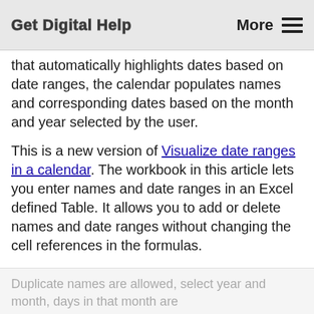Get Digital Help    More ☰
that automatically highlights dates based on date ranges, the calendar populates names and corresponding dates based on the month and year selected by the user.
This is a new version of Visualize date ranges in a calendar. The workbook in this article lets you enter names and date ranges in an Excel defined Table. It allows you to add or delete names and date ranges without changing the cell references in the formulas.
Duplicate names are allowed, select year and month, days in that month are